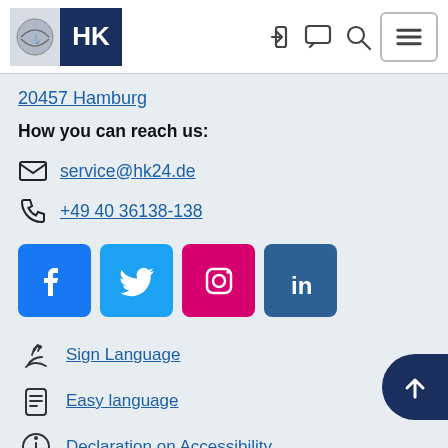HK
20457 Hamburg
How you can reach us:
service@hk24.de
+49 40 36138-138
[Figure (infographic): Social media icons: Facebook, Twitter, Instagram, LinkedIn]
Sign Language
Easy language
Declaration on Accessibility